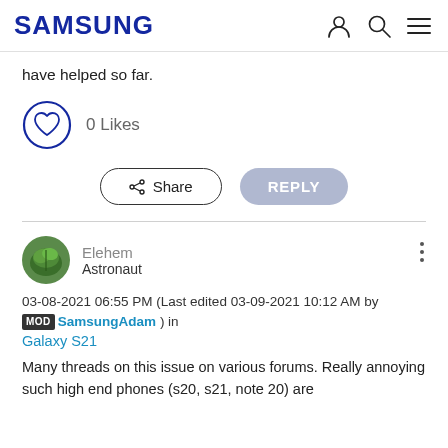SAMSUNG
have helped so far.
[Figure (illustration): 0 Likes button with heart icon in a circle]
[Figure (illustration): Share button and Reply button]
[Figure (illustration): User avatar (green leaf image), username Elehem, role Astronaut, three-dot menu]
03-08-2021 06:55 PM (Last edited 03-09-2021 10:12 AM by MOD SamsungAdam ) in
Galaxy S21
Many threads on this issue on various forums. Really annoying such high end phones (s20, s21, note 20) are